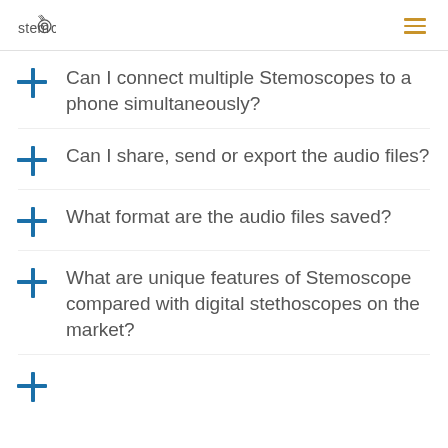stemoscope
Can I connect multiple Stemoscopes to a phone simultaneously?
Can I share, send or export the audio files?
What format are the audio files saved?
What are unique features of Stemoscope compared with digital stethoscopes on the market?